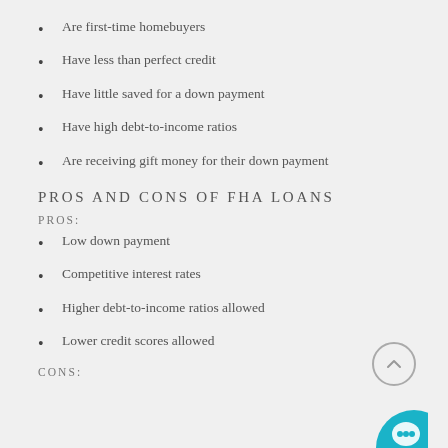Are first-time homebuyers
Have less than perfect credit
Have little saved for a down payment
Have high debt-to-income ratios
Are receiving gift money for their down payment
PROS AND CONS OF FHA LOANS
PROS:
Low down payment
Competitive interest rates
Higher debt-to-income ratios allowed
Lower credit scores allowed
CONS: